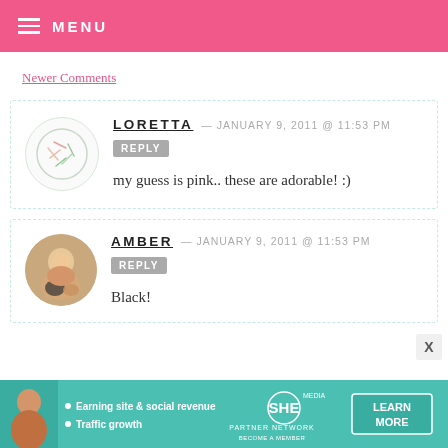MENU
Newer Comments
LORETTA — JANUARY 9, 2011 @ 11:53 PM REPLY
my guess is pink.. these are adorable! :)
AMBER — JANUARY 9, 2011 @ 11:53 PM REPLY
Black!
[Figure (infographic): Advertisement banner for SHE Partner Network with teal background, person photo, bullet points about earning site social revenue and traffic growth, SHE logo, and LEARN MORE button]